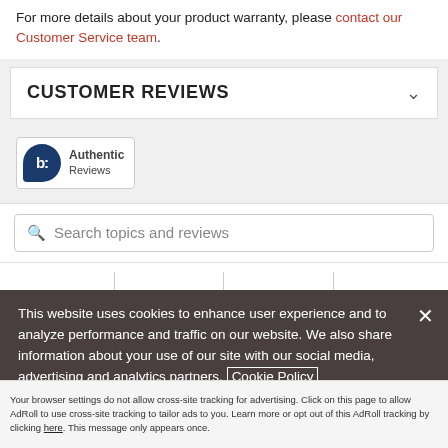For more details about your product warranty, please contact our Customer Service team.
CUSTOMER REVIEWS
[Figure (logo): Bazaarvoice Authentic Reviews badge logo]
Search topics and reviews
This website uses cookies to enhance user experience and to analyze performance and traffic on our website. We also share information about your use of our site with our social media, advertising and analytics partners. Cookie Policy
Accept and Close ✕
Your browser settings do not allow cross-site tracking for advertising. Click on this page to allow AdRoll to use cross-site tracking to tailor ads to you. Learn more or opt out of this AdRoll tracking by clicking here. This message only appears once.